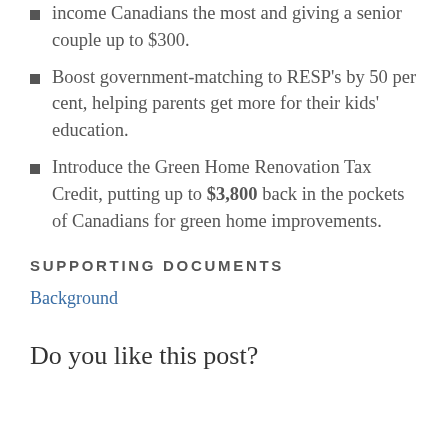income Canadians the most and giving a senior couple up to $300.
Boost government-matching to RESP’s by 50 per cent, helping parents get more for their kids’ education.
Introduce the Green Home Renovation Tax Credit, putting up to $3,800 back in the pockets of Canadians for green home improvements.
SUPPORTING DOCUMENTS
Background
Do you like this post?